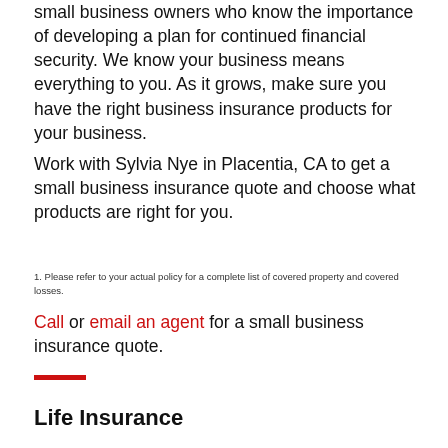small business owners who know the importance of developing a plan for continued financial security. We know your business means everything to you. As it grows, make sure you have the right business insurance products for your business.
Work with Sylvia Nye in Placentia, CA to get a small business insurance quote and choose what products are right for you.
1. Please refer to your actual policy for a complete list of covered property and covered losses.
Call or email an agent for a small business insurance quote.
Life Insurance